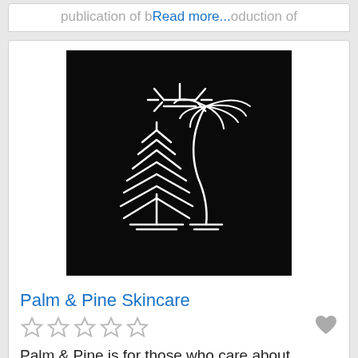publication of b... Read more... oduction of
[Figure (logo): Palm & Pine Skincare logo: white line art of a sun, a pine tree, and a palm tree on a black background]
Palm & Pine Skincare
★★★★★ (5 empty stars) with a heart icon
Palm & Pine is for those who care about sustainability & style. The sunshine lovers who adventure amongst the palms and the pines... Read more...